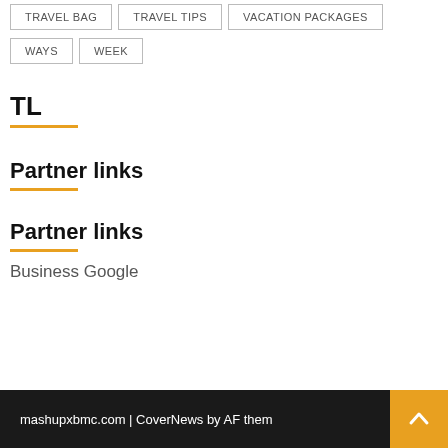TRAVEL BAG
TRAVEL TIPS
VACATION PACKAGES
WAYS
WEEK
TL
Partner links
Partner links
Business Google
mashupxbmc.com | CoverNews by AF them